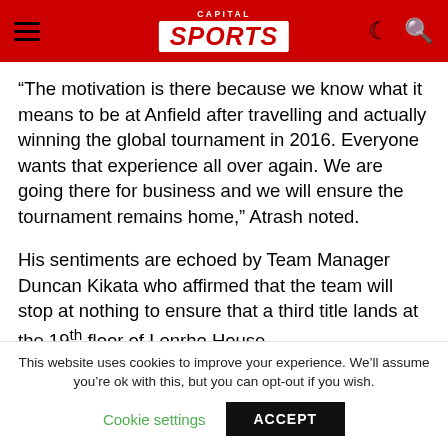Capital Sports
“The motivation is there because we know what it means to be at Anfield after travelling and actually winning the global tournament in 2016. Everyone wants that experience all over again. We are going there for business and we will ensure the tournament remains home,” Atrash noted.
His sentiments are echoed by Team Manager Duncan Kikata who affirmed that the team will stop at nothing to ensure that a third title lands at the 19th floor of Lonrho House.
This website uses cookies to improve your experience. We’ll assume you’re ok with this, but you can opt-out if you wish.